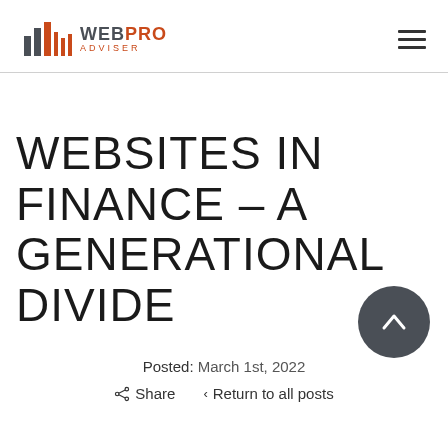WebPro Adviser
WEBSITES IN FINANCE – A GENERATIONAL DIVIDE
Posted:  March 1st, 2022
Share   Return to all posts